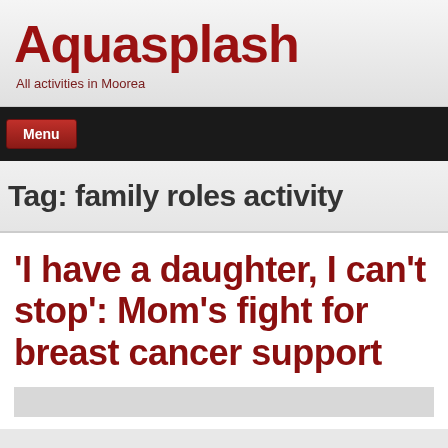Aquasplash
All activities in Moorea
Menu
Tag: family roles activity
'I have a daughter, I can't stop': Mom's fight for breast cancer support